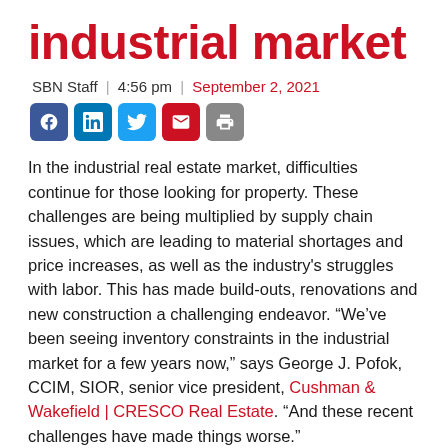industrial market
SBN Staff | 4:56 pm | September 2, 2021
[Figure (other): Social media share icons: Facebook, LinkedIn, Twitter, Email, Print]
In the industrial real estate market, difficulties continue for those looking for property. These challenges are being multiplied by supply chain issues, which are leading to material shortages and price increases, as well as the industry's struggles with labor. This has made build-outs, renovations and new construction a challenging endeavor. “We’ve been seeing inventory constraints in the industrial market for a few years now,” says George J. Pofok, CCIM, SIOR, senior vice president, Cushman & Wakefield | CRESCO Real Estate. “And these recent challenges have made things worse.”